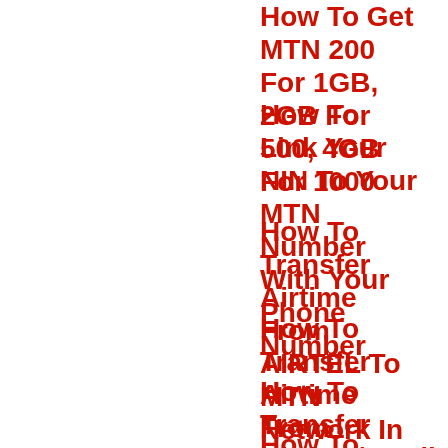How To Get MTN 200 For 1GB, 2GB For 500, 4GB For 1000
How To Link Your NIN To Your MTN Number With Your Phone Number
How To Transfer Airtime From AIRTEL To MTN Network In 2022
How To Transfer Airtime From 9MOBILE To MTN Network In 2022
How To Transfer Airtime/Credit From MTN To GLO Network In 2022
How To Transfer Airtime From MTN To AIRTEL Network In